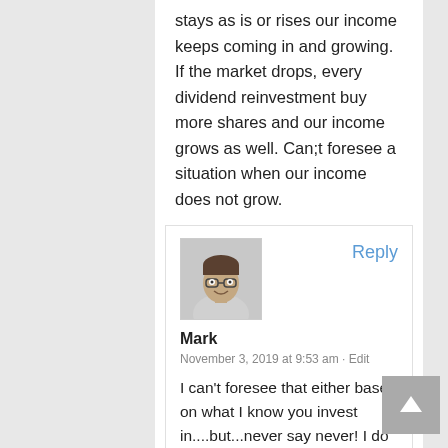stays as is or rises our income keeps coming in and growing. If the market drops, every dividend reinvestment buy more shares and our income grows as well. Can;t foresee a situation when our income does not grow.
[Figure (photo): Avatar photo of a man with glasses, smiling, wearing a light colored shirt]
Reply
Mark
November 3, 2019 at 9:53 am · Edit
I can't foresee that either based on what I know you invest in....but...never say never! I do believe in some dividend ETFs (and although you don't my